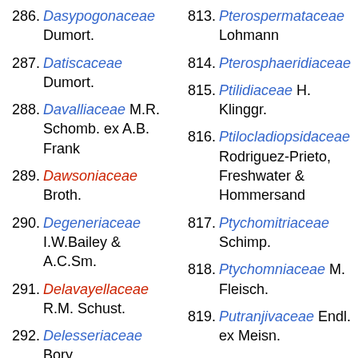286. Dasypogonaceae Dumort.
287. Datiscaceae Dumort.
288. Davalliaceae M.R. Schomb. ex A.B. Frank
289. Dawsoniaceae Broth.
290. Degeneriaceae I.W.Bailey & A.C.Sm.
291. Delavayellaceae R.M. Schust.
292. Delesseriaceae Bory
293. Dendrocerotaceae J. Haseg.
294. Dennstaedtiaceae
813. Pterospermataceae Lohmann
814. Pterosphaeridiaceae
815. Ptilidiaceae H. Klinggr.
816. Ptilocladiopsidaceae Rodriguez-Prieto, Freshwater & Hommersand
817. Ptychomitriaceae Schimp.
818. Ptychomniaceae M. Fleisch.
819. Putranjivaceae Endl. ex Meisn.